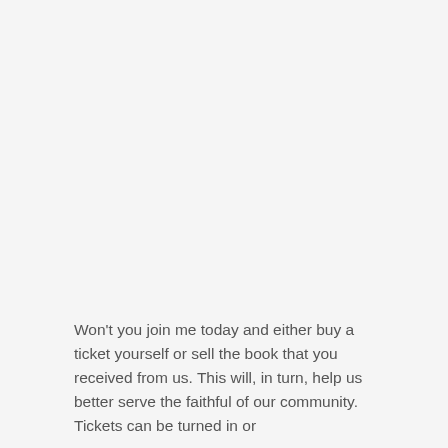Won't you join me today and either buy a ticket yourself or sell the book that you received from us. This will, in turn, help us better serve the faithful of our community. Tickets can be turned in or